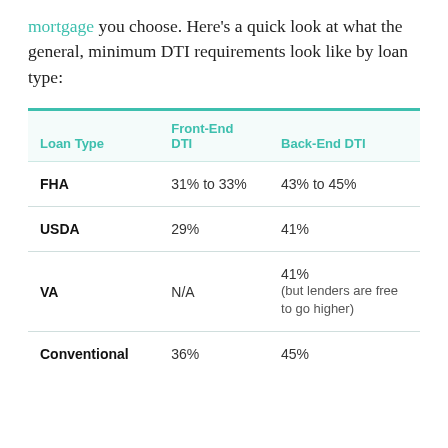mortgage you choose. Here's a quick look at what the general, minimum DTI requirements look like by loan type:
| Loan Type | Front-End DTI | Back-End DTI |
| --- | --- | --- |
| FHA | 31% to 33% | 43% to 45% |
| USDA | 29% | 41% |
| VA | N/A | 41% (but lenders are free to go higher) |
| Conventional | 36% | 45% |